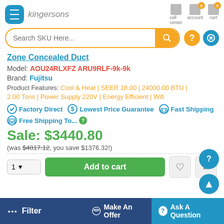kingersons — Search SKU Here...
Zone Concealed Duct
Model: AOU24RLXFZ ARU9RLF-9k-9k
Brand: Fujitsu
Product Features: Cool & Heat | SEER 18.00 | 24000.00 BTU | 2.00 Tons | Power Supply 220V | Energy Efficient | Wifi
Factory Direct
Lowest Price Guarantee
Fast Shipping
Free Shipping To...
Sale: $3440.80
(was $4817.12, you save $1376.32!)
Add to cart
Make An Offer
Ask A Question